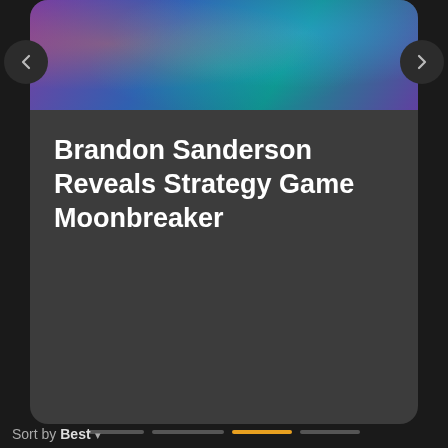[Figure (screenshot): Game banner image with colorful fantasy characters on dark teal/purple gradient background]
Brandon Sanderson Reveals Strategy Game Moonbreaker
[Figure (screenshot): Navigation slider dots with orange active state for current slide]
[Figure (screenshot): MW (Meristation/media outlet) video thumbnail showing Mass Effect alien character and a woman, labeled BEST RETRO SWITCH GAMES with play button overlay]
Log in | Sign up
hink?
Sort by Best